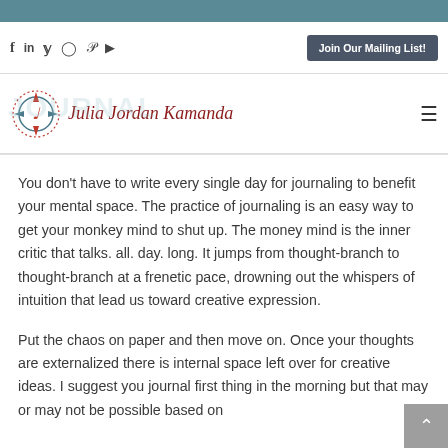Join Our Mailing List!
[Figure (logo): Julia Jordan Kamanda logo with compass/music note emblem and script wordmark]
You don't have to write every single day for journaling to benefit your mental space. The practice of journaling is an easy way to get your monkey mind to shut up. The money mind is the inner critic that talks. all. day. long. It jumps from thought-branch to thought-branch at a frenetic pace, drowning out the whispers of intuition that lead us toward creative expression.
Put the chaos on paper and then move on. Once your thoughts are externalized there is internal space left over for creative ideas. I suggest you journal first thing in the morning but that may or may not be possible based on